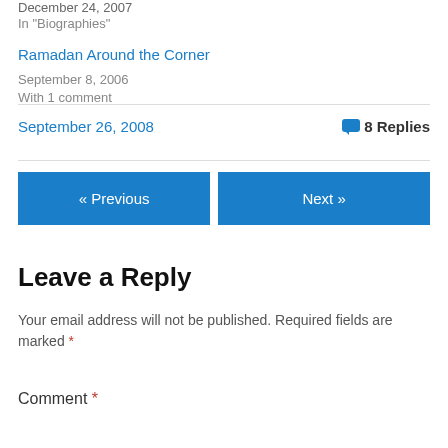December 24, 2007
In "Biographies"
Ramadan Around the Corner
September 8, 2006
With 1 comment
September 26, 2008
8 Replies
« Previous
Next »
Leave a Reply
Your email address will not be published. Required fields are marked *
Comment *